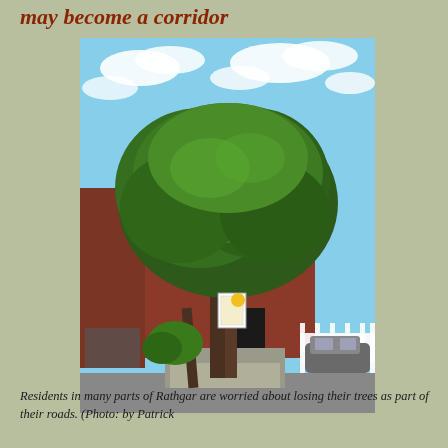may become a corridor
[Figure (photo): A large green tree in front of a red brick building in Rathgar, with a white fence, a car parked on the right, blue cloudy sky above, and a concrete plinth at the base of the tree.]
Residents in many parts of Rathgar are worried about losing their trees as part of their roads. (Photo: by Patrick...